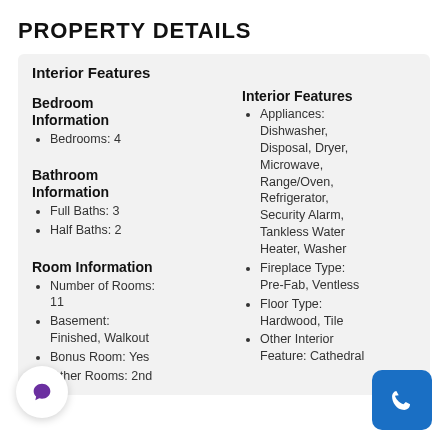PROPERTY DETAILS
Interior Features
Bedroom Information
Bedrooms: 4
Bathroom Information
Full Baths: 3
Half Baths: 2
Room Information
Number of Rooms: 11
Basement: Finished, Walkout
Bonus Room: Yes
Other Rooms: 2nd
Interior Features
Appliances: Dishwasher, Disposal, Dryer, Microwave, Range/Oven, Refrigerator, Security Alarm, Tankless Water Heater, Washer
Fireplace Type: Pre-Fab, Ventless
Floor Type: Hardwood, Tile
Other Interior Feature: Cathedral